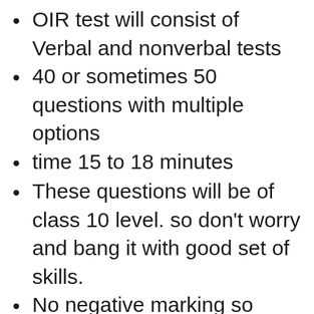OIR test will consist of Verbal and nonverbal tests
40 or sometimes 50 questions with multiple options
time 15 to 18 minutes
These questions will be of class 10 level. so don't worry and bang it with good set of skills.
No negative marking so solve max. questions.
There are chances your paper will be marked by previous students but neglect it